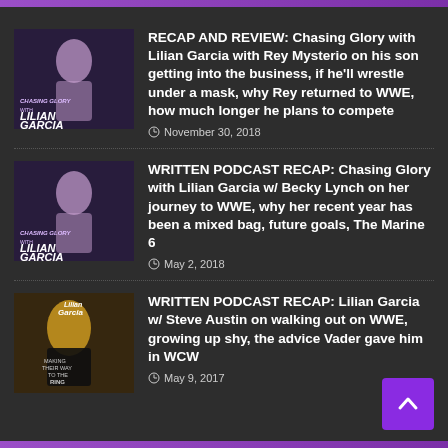RECAP AND REVIEW: Chasing Glory with Lilian Garcia with Rey Mysterio on his son getting into the business, if he'll wrestle under a mask, why Rey returned to WWE, how much longer he plans to compete — November 30, 2018
WRITTEN PODCAST RECAP: Chasing Glory with Lilian Garcia w/ Becky Lynch on her journey to WWE, why her recent year has been a mixed bag, future goals, The Marine 6 — May 2, 2018
WRITTEN PODCAST RECAP: Lilian Garcia w/ Steve Austin on walking out on WWE, growing up shy, the advice Vader gave him in WCW — May 9, 2017